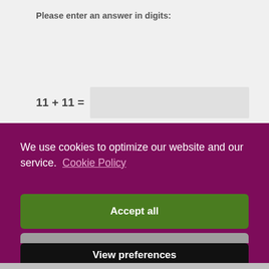Please enter an answer in digits:
11 + 11 =
We use cookies to optimize our website and our service.  Cookie Policy
Accept all
Functional only
View preferences